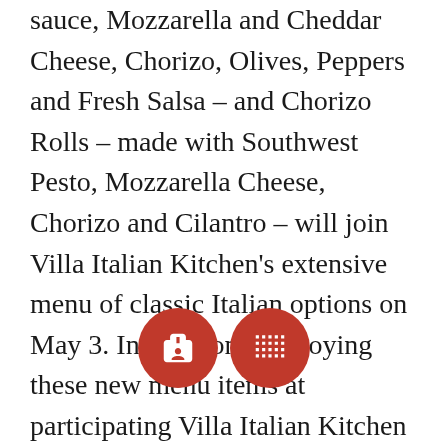sauce, Mozzarella and Cheddar Cheese, Chorizo, Olives, Peppers and Fresh Salsa – and Chorizo Rolls – made with Southwest Pesto, Mozzarella Cheese, Chorizo and Cilantro – will join Villa Italian Kitchen's extensive menu of classic Italian options on May 3. In addition to enjoying these new menu items at participating Villa Italian Kitchen locations nationwide, consumers are invited to snap a photo of their Pepsi and Chorizo Stromboli and post it to Instagram or Twitter using the hashtag #ChivasSweepstakes to enter for a chance to win a pair of tickets to attend a Chivas de Guadalajara U.S. soccer game this summer – with hotel and airfare included – or to win a signed Chivas de Guadalajara jersey. Consumers can also give out of their favorite pizza brand by using the hashtag
[Figure (infographic): Two red circular buttons with white icons: a fork-and-knife icon (restaurant/food) and a calendar/grid icon, overlaid on the text.]